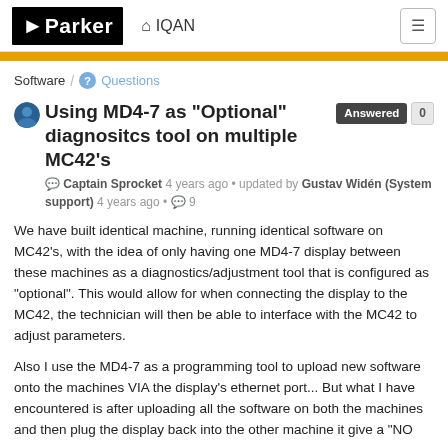Parker | IQAN
Software / Questions
Using MD4-7 as "Optional" diagnositcs tool on multiple MC42's
Captain Sprocket 4 years ago • updated by Gustav Widén (System support) 4 years ago • 9
We have built identical machine, running identical software on MC42's, with the idea of only having one MD4-7 display between these machines as a diagnostics/adjustment tool that is configured as "optional". This would allow for when connecting the display to the MC42, the technician will then be able to interface with the MC42 to adjust parameters.
Also I use the MD4-7 as a programming tool to upload new software onto the machines VIA the display's ethernet port... But what I have encountered is after uploading all the software on both the machines and then plug the display back into the other machine it give a "NO